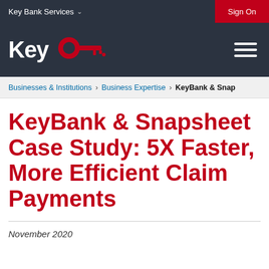Key Bank Services   Sign On
[Figure (logo): KeyBank logo: 'Key' text in white with red key icon on dark navy background]
Businesses & Institutions > Business Expertise > KeyBank & Snap
KeyBank & Snapsheet Case Study: 5X Faster, More Efficient Claim Payments
November 2020